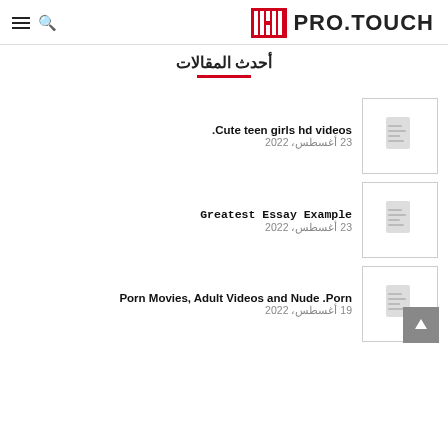PRO.TOUCH
أحدث المقالات
.Cute teen girls hd videos | 23 أغسطس، 2022
Greatest Essay Example | 23 أغسطس، 2022
Porn Movies, Adult Videos and Nude .Porn | 19 أغسطس، 2022